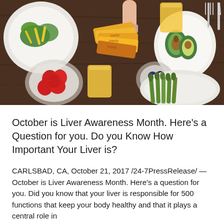[Figure (photo): Overhead view of a table with healthy foods: a salad bowl with greens and yellow peppers, a bowl of strawberries, glasses of orange juice, supplement or nutrition bar packets (branded 'Insety' or similar), blueberries in a small bowl, an avocado on a white plate, asparagus on a white plate, and a hand reaching for the packets. Dark wooden table background.]
October is Liver Awareness Month. Here’s a Question for you. Do you Know How Important Your Liver is?
CARLSBAD, CA, October 21, 2017 /24-7PressRelease/ — October is Liver Awareness Month. Here’s a question for you. Did you know that your liver is responsible for 500 functions that keep your body healthy and that it plays a central role in